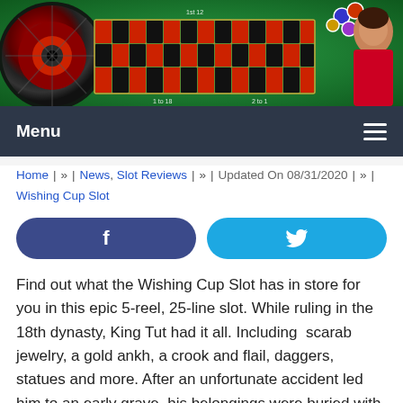[Figure (photo): Casino banner image with roulette wheel on the left, green roulette table in the center, colorful chips, and a woman celebrating on the right]
Menu ☰
Home | » | News, Slot Reviews | » | Updated On 08/31/2020 | » | Wishing Cup Slot
[Figure (other): Facebook and Twitter social share buttons]
Find out what the Wishing Cup Slot has in store for you in this epic 5-reel, 25-line slot. While ruling in the 18th dynasty, King Tut had it all. Including  scarab jewelry, a gold ankh, a crook and flail, daggers, statues and more. After an unfortunate accident led him to an early grave, his belongings were buried with him, waiting to be discovered.